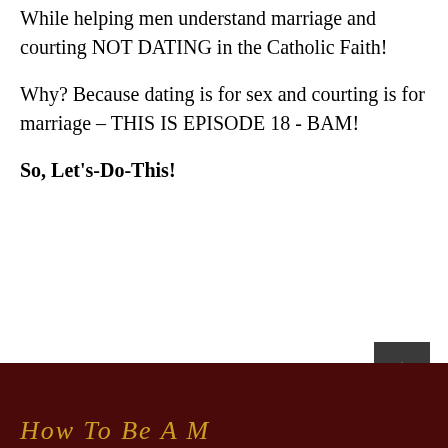While helping men understand marriage and courting NOT DATING in the Catholic Faith!
Why? Because dating is for sex and courting is for marriage – THIS IS EPISODE 18 - BAM!
So, Let's-Do-This!
How To Be A M...